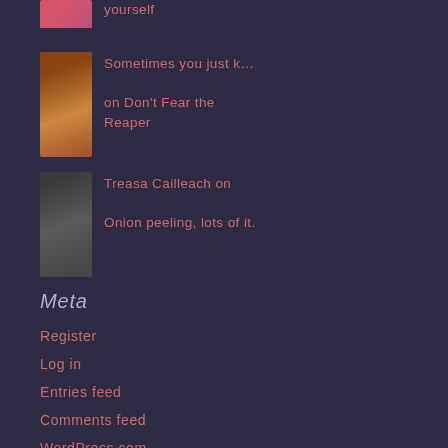yourself
[Figure (photo): Small avatar thumbnail of flowers (pink/magenta)]
Sometimes you just k…
on Don't Fear the Reaper
[Figure (photo): Small avatar thumbnail of food (brown/golden)]
Treasa Cailleach on Onion peeling, lots of it.
Meta
Register
Log in
Entries feed
Comments feed
WordPress.com